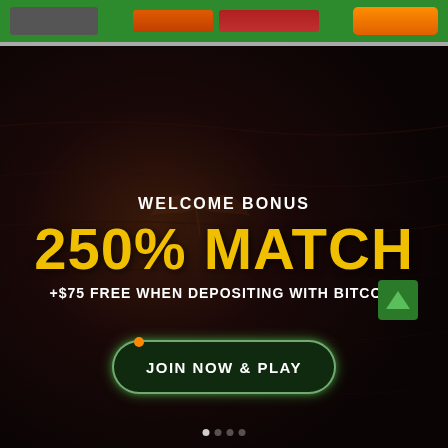[Figure (screenshot): Green navigation header bar with logo placeholder, nav items, and orange CTA button]
[Figure (screenshot): Online casino promotional banner with dark wood background showing welcome bonus offer]
WELCOME BONUS
250% MATCH
+$75 FREE WHEN DEPOSITING WITH BITCOIN
JOIN NOW & PLAY